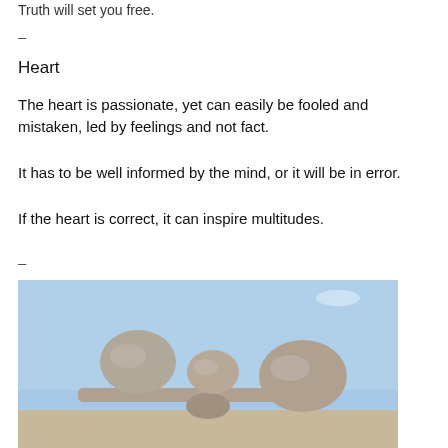Truth will set you free.
–
Heart
The heart is passionate, yet can easily be fooled and mistaken, led by feelings and not fact.
It has to be well informed by the mind, or it will be in error.
If the heart is correct, it can inspire multitudes.
–
[Figure (photo): Balanced stones stacked on a plank in front of a blue sky — larger rounded stones balanced on a horizontal flat stone, with a smaller stone underneath as a fulcrum.]